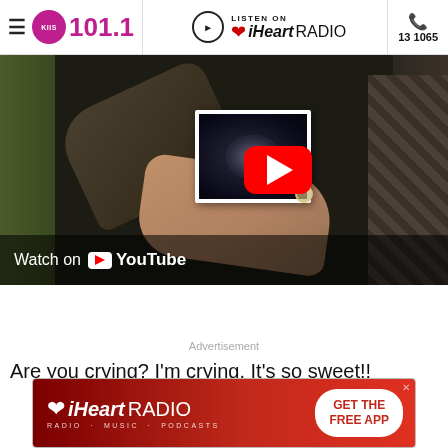KIIS 101.1 | LISTEN ON iHeartRADIO | 131065
[Figure (screenshot): YouTube video thumbnail showing two people holding an ultrasound photo, with a red YouTube play button overlay and 'Watch on YouTube' label at bottom left]
Advertisement
Are you crying? I'm crying. It's so sweet!!
[Figure (screenshot): iHeartRadio advertisement banner with red gradient background, iHeartRadio logo on left, and 'GET THE FREE APP' button on right]